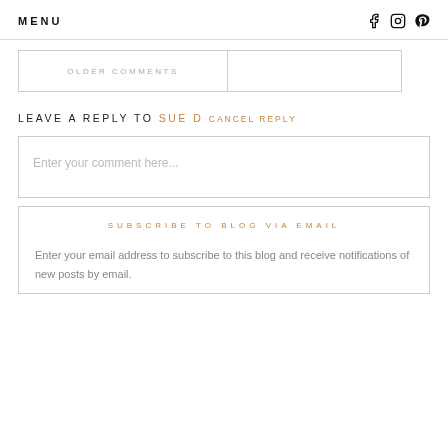MENU
OLDER COMMENTS
LEAVE A REPLY TO SUE D CANCEL REPLY
Enter your comment here...
SUBSCRIBE TO BLOG VIA EMAIL
Enter your email address to subscribe to this blog and receive notifications of new posts by email.